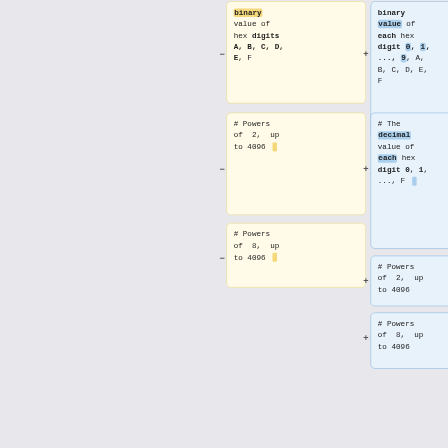binary value of hex digits A, B, C, D, E, F
binary value of each hex digit 0, 1, ..., 9, A, B, C, D, E, F
# Powers of 2, up to 4096
# The decimal value of each hex digit 0, 1, ..., F
# Powers of 8, up to 4096
# Powers of 2, up to 4096
# Powers of 8, up to 4096